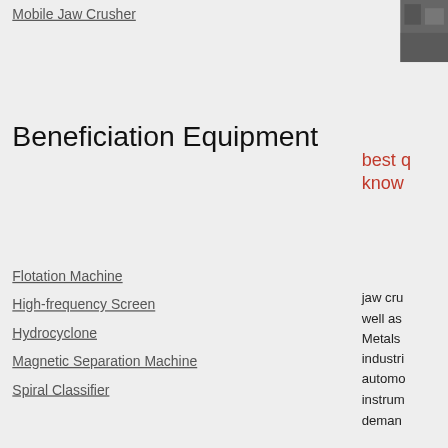Mobile Jaw Crusher
[Figure (photo): Small dark photo thumbnail in top right corner]
Beneficiation Equipment
best q know
Flotation Machine
High-frequency Screen
Hydrocyclone
Magnetic Separation Machine
Spiral Classifier
jaw cru well as Metals industri automo instrum deman
News:
[Figure (photo): Photo thumbnail on right side showing colorful image]
italian underground mining equipment  2022-03-10
crusher machine lubriion systems  2022-03-09
rail grinding stone  2022-03-08
jaw Cr